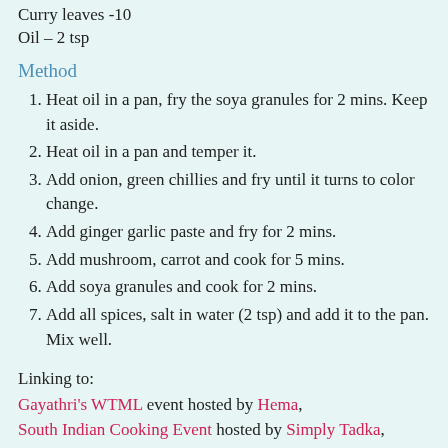Curry leaves -10
Oil – 2 tsp
Method
1. Heat oil in a pan, fry the soya granules for 2 mins. Keep it aside.
2. Heat oil in a pan and temper it.
3. Add onion, green chillies and fry until it turns to color change.
4. Add ginger garlic paste and fry for 2 mins.
5. Add mushroom, carrot and cook for 5 mins.
6. Add soya granules and cook for 2 mins.
7. Add all spices, salt in water (2 tsp) and add it to the pan. Mix well.
Linking to:
Gayathri's WTML event hosted by Hema,
South Indian Cooking Event hosted by Simply Tadka,
Cook like a Celebrity Chef event by Food Corner,
Vimitha's Hearty and Healthy.